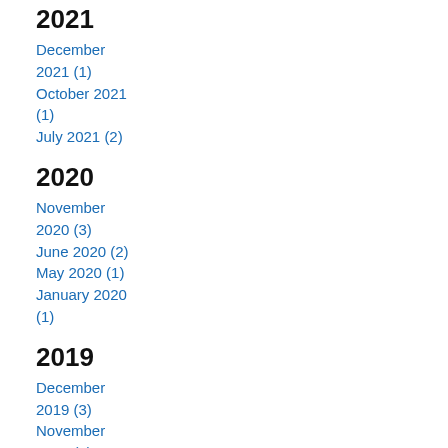2021
December 2021 (1)
October 2021 (1)
July 2021 (2)
2020
November 2020 (3)
June 2020 (2)
May 2020 (1)
January 2020 (1)
2019
December 2019 (3)
November 2019 (3)
October 2019 (2)
August 2019 (2)
July 2019 (2)